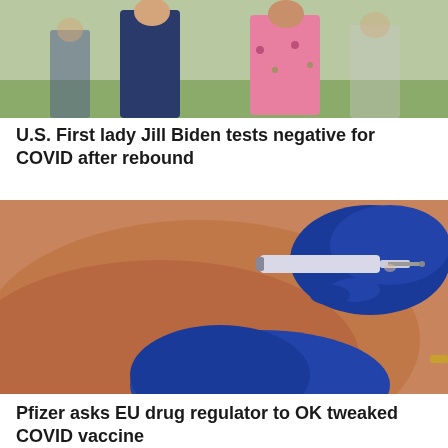[Figure (photo): People walking outdoors, one person in a dark blue suit, another in a pink floral dress]
U.S. First lady Jill Biden tests negative for COVID after rebound
[Figure (photo): Close-up of a person receiving a vaccine injection in the upper arm from a healthcare worker wearing blue latex gloves holding a syringe]
Pfizer asks EU drug regulator to OK tweaked COVID vaccine